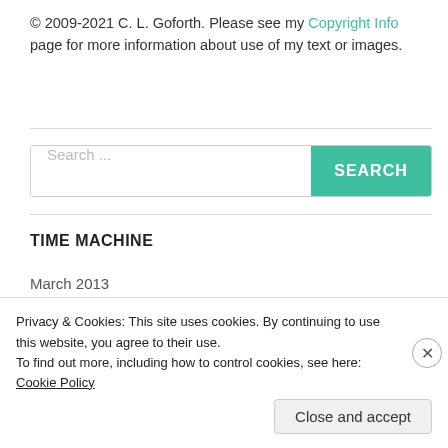© 2009-2021 C. L. Goforth. Please see my Copyright Info page for more information about use of my text or images.
[Figure (screenshot): Search bar with placeholder text 'Search ...' and a teal 'SEARCH' button]
TIME MACHINE
March 2013
Privacy & Cookies: This site uses cookies. By continuing to use this website, you agree to their use.
To find out more, including how to control cookies, see here: Cookie Policy